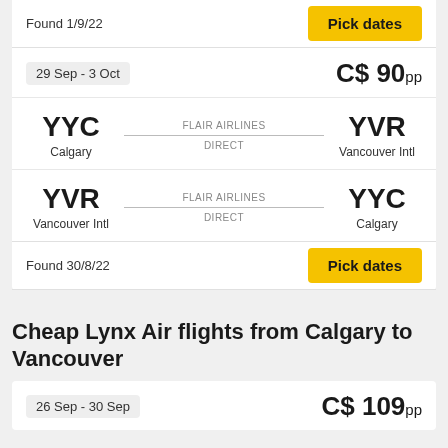Found 1/9/22
Pick dates
29 Sep - 3 Oct
C$ 90pp
YYC Calgary — FLAIR AIRLINES DIRECT — YVR Vancouver Intl
YVR Vancouver Intl — FLAIR AIRLINES DIRECT — YYC Calgary
Found 30/8/22
Pick dates
Cheap Lynx Air flights from Calgary to Vancouver
26 Sep - 30 Sep
C$ 109pp